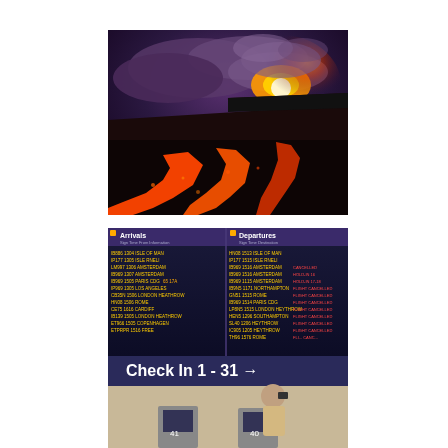[Figure (photo): Aerial night photograph of an active volcanic eruption showing glowing lava flows (bright orange-red) streaming across a dark landscape, with a volcanic vent glowing brightly at upper right and smoke/ash clouds above it.]
[Figure (photo): Airport departures/arrivals board showing multiple flights with destinations and statuses including 'FLIGHT CANCELLED' notices. The board shows Arrivals on the left and Departures on the right. Below the board is a sign reading 'Check In 1 - 31 →'. A man in a beige jacket is seen from behind, photographing the board with a camera. Two check-in kiosks labeled 41 and 40 are visible at the bottom.]